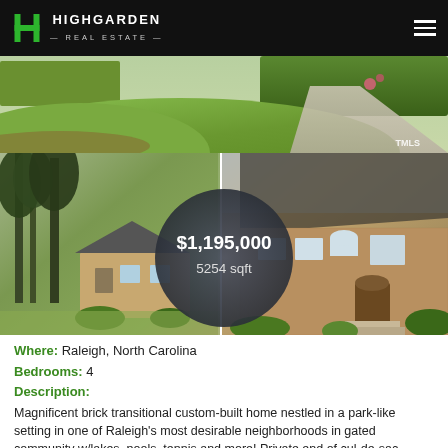[Figure (photo): Highgarden Real Estate logo and navigation header bar with black background]
[Figure (photo): Top exterior photo showing manicured lawn, garden path, and hedges with TMLS watermark]
[Figure (photo): Two side-by-side property photos: left shows brick home among trees, right shows brick home front entrance. Center overlay circle shows price $1,195,000 and 5254 sqft]
Where: Raleigh, North Carolina
Bedrooms: 4
Description:
Magnificent brick transitional custom-built home nestled in a park-like setting in one of Raleigh's most desirable neighborhoods in gated community w/lakes, pools, tennis and more! Private end of cul-de-sac, Berkshire Hathaway HomeServices YSU